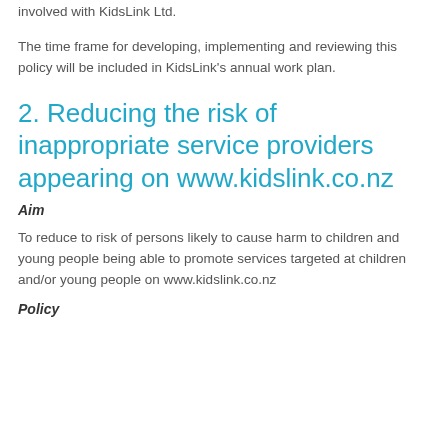involved with KidsLink Ltd.
The time frame for developing, implementing and reviewing this policy will be included in KidsLink's annual work plan.
2. Reducing the risk of inappropriate service providers appearing on www.kidslink.co.nz
Aim
To reduce to risk of persons likely to cause harm to children and young people being able to promote services targeted at children and/or young people on www.kidslink.co.nz
Policy